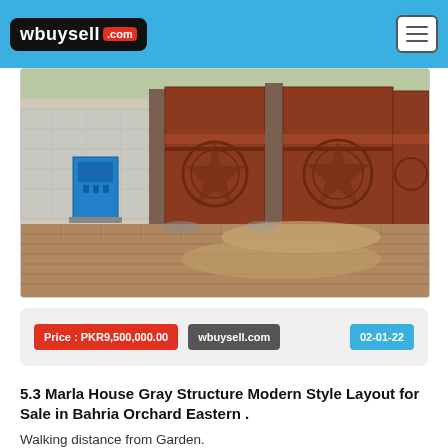wbuysell .com
[Figure (photo): Exterior photo of a house under construction showing large brown metal gates with decorative circular medallions, a blue utility box, concrete boundary wall, and sandy/brick-paved ground in front.]
Price : PKR9,500,000.00   wbuysell.com   02-01-22
5.3 Marla House Gray Structure Modern Style Layout for Sale in Bahria Orchard Eastern .
Walking distance from Garden.